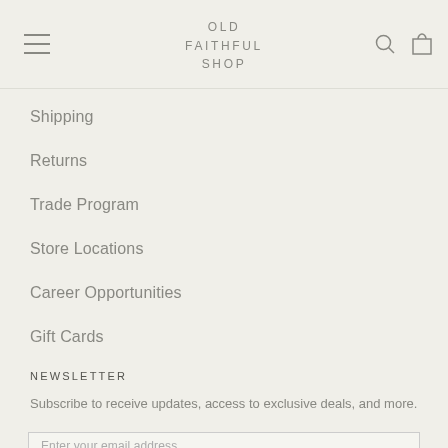OLD FAITHFUL SHOP
Shipping
Returns
Trade Program
Store Locations
Career Opportunities
Gift Cards
NEWSLETTER
Subscribe to receive updates, access to exclusive deals, and more.
Enter your email address